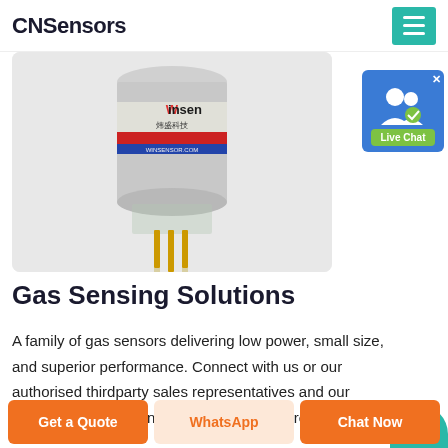CNSensors
[Figure (photo): Close-up photo of a Winsen gas sensor module with transparent cylindrical body, gold pins at the bottom, and a label reading 'Winsen 炜盛科技 WINSENSOR.COM']
[Figure (screenshot): Live Chat widget icon with blue background showing two user silhouettes, a green 'Live Chat' label, and an X close button]
Gas Sensing Solutions
A family of gas sensors delivering low power, small size, and superior performance. Connect with us or our authorised thirdparty sales representatives and our distributors for design questions or pricing reque...e